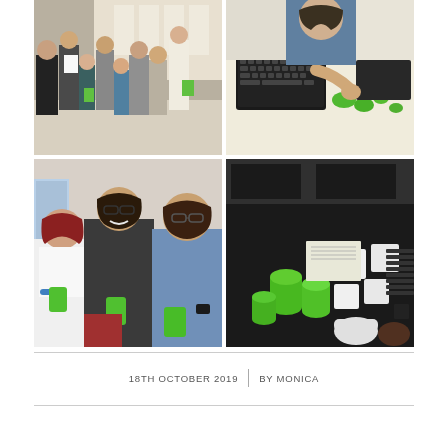[Figure (photo): Four photos in a 2x2 grid: top-left shows a group of people at an event in a large hall; top-right shows a girl working with electronic components and green objects on a desk; bottom-left shows three people talking, two men and a woman, one holding a green 3D-printed object; bottom-right shows a display table with green 3D-printed objects, white tiles, and electronic components.]
18TH OCTOBER 2019 | BY MONICA